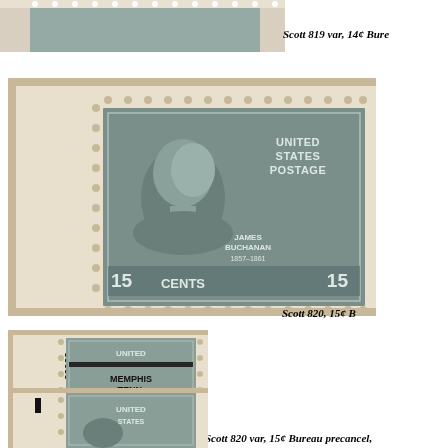[Figure (photo): Partial view of a US postage stamp at top of page, cropped, showing perforations and partial stamp image (Scott 819 var, 14¢ Bureau precancel)]
Scott 819 var, 14¢ Bure
[Figure (photo): Scott 820, 15¢ James Buchanan US postage stamp with plate number 22126 in margin, showing perforations and full stamp face with portrait]
Scott 820, 15¢ B
[Figure (photo): Scott 820 var, 15¢ Bureau precancel stamp with MEMPHIS TENN. precancel overprint, plate number 22923 in margin]
Scott 820 var, 15¢ Bureau precancel,
[Figure (photo): Partial view of another US postage stamp at bottom of page, cropped, showing UNITED STATES text and perforations]